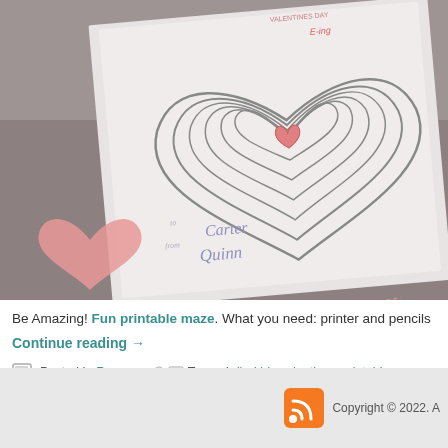[Figure (photo): Photo of a Valentine's Day printable heart maze puzzle on paper, with decorative hearts and handwritten names 'Carter' and 'Quinn'. The paper shows a concentric heart-shaped maze. Text visible at top reads 'VALENTINES DAY' and partially shows 'E-ing'. Pink hearts and dotted ribbon decorations visible.]
Be Amazing! Fun printable maze. What you need: printer and pencils
Continue reading →
Posted in Romance Tagged diy, kids valentines, printables, valentines
Copyright © 2022. A